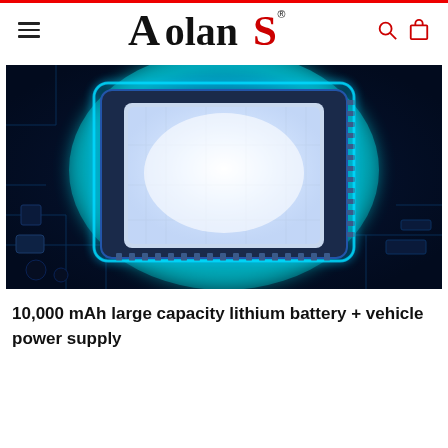Aolans — Navigation header with hamburger menu, logo, search and cart icons
[Figure (photo): Close-up photo of a glowing blue circuit board with a large CPU/chip in the center illuminated by bright blue light, set against a dark blue PCB background with circuit traces and electronic components.]
10,000 mAh large capacity lithium battery + vehicle power supply